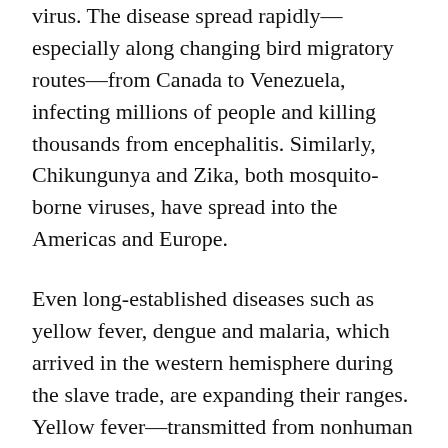virus. The disease spread rapidly—especially along changing bird migratory routes—from Canada to Venezuela, infecting millions of people and killing thousands from encephalitis. Similarly, Chikungunya and Zika, both mosquito-borne viruses, have spread into the Americas and Europe.
Even long-established diseases such as yellow fever, dengue and malaria, which arrived in the western hemisphere during the slave trade, are expanding their ranges. Yellow fever—transmitted from nonhuman primates to humans via mosquitoes—found a new world replete with all three and caused deadly outbreaks across the Americas in the 18th and 19th centuries. In recent years, Brazil has